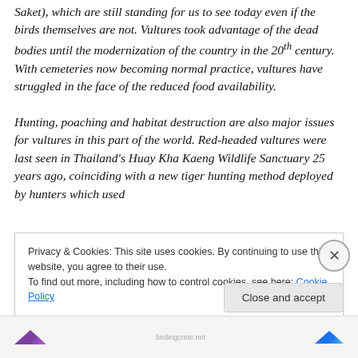Saket), which are still standing for us to see today even if the birds themselves are not. Vultures took advantage of the dead bodies until the modernization of the country in the 20th century. With cemeteries now becoming normal practice, vultures have struggled in the face of the reduced food availability.

Hunting, poaching and habitat destruction are also major issues for vultures in this part of the world. Red-headed vultures were last seen in Thailand's Huay Kha Kaeng Wildlife Sanctuary 25 years ago, coinciding with a new tiger hunting method deployed by hunters which used
Privacy & Cookies: This site uses cookies. By continuing to use this website, you agree to their use.
To find out more, including how to control cookies, see here: Cookie Policy
Close and accept